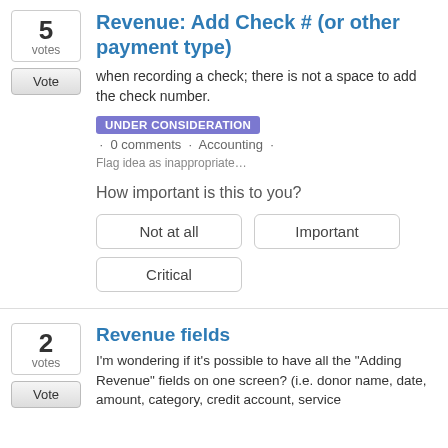5
votes
Revenue: Add Check # (or other payment type)
when recording a check; there is not a space to add the check number.
UNDER CONSIDERATION · 0 comments · Accounting ·
Flag idea as inappropriate…
How important is this to you?
Not at all
Important
Critical
2
votes
Revenue fields
I'm wondering if it's possible to have all the "Adding Revenue" fields on one screen? (i.e. donor name, date, amount, category, credit account, service